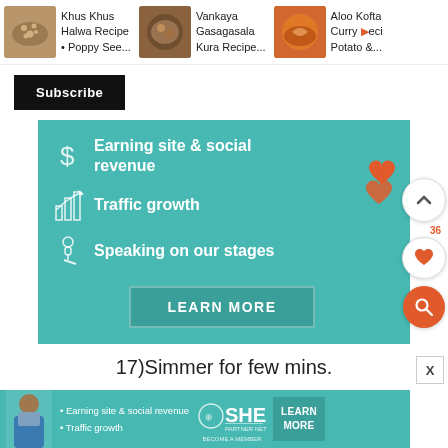[Figure (screenshot): Recipe cards row at top showing: Khus Khus Halwa Recipe · Poppy See..., Vankaya Gasagasala Kura Recipe..., Aloo Kofta Curry Recipe Potato &...]
Khus Khus Halwa Recipe • Poppy See...
Vankaya Gasagasala Kura Recipe...
Aloo Kofta Curry Recipe Potato &...
Subscribe
[Figure (infographic): Teal banner advertisement with three items: dollar sign icon - 'Earning site & social revenue', bar chart icon - 'Traffic growth', microphone icon - 'Speaking on our stages', and a LEARN MORE button. Red heart decoration on right side.]
Earning site & social revenue
Traffic growth
Speaking on our stages
LEARN MORE
17)Simmer for few mins.
[Figure (infographic): Bottom strip SHE Partner Network advertisement with bullet points: Earning site & social revenue, Traffic growth, and LEARN MORE button]
• Earning site & social revenue
• Traffic growth